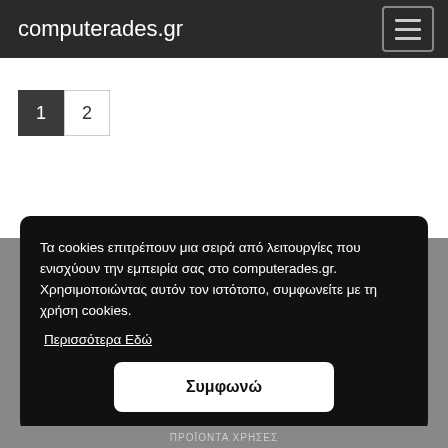computerades.gr
1  2
Τα cookies επιτρέπουν μια σειρά από λειτουργίες που ενισχύουν την εμπειρία σας στο computerades.gr. Χρησιμοποιώντας αυτόν τον ιστότοπο, συμφωνείτε με τη χρήση cookies.
Περισσότερα Εδώ
Συμφωνώ
ΠΡΟΪΟΝΤΑ ΧΡΗΣΕΣ